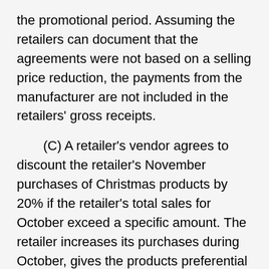the promotional period. Assuming the retailers can document that the agreements were not based on a selling price reduction, the payments from the manufacturer are not included in the retailers' gross receipts.
(C) A retailer's vendor agrees to discount the retailer's November purchases of Christmas products by 20% if the retailer's total sales for October exceed a specific amount. The retailer increases its purchases during October, gives the products preferential shelf space and advertises the products at 10% off. Although the retailer reduced the selling price of the products, a price reduction was not a condition of the agreement. The retailer retains documentation to support this fact. The discount continues to the retailer's cost of...